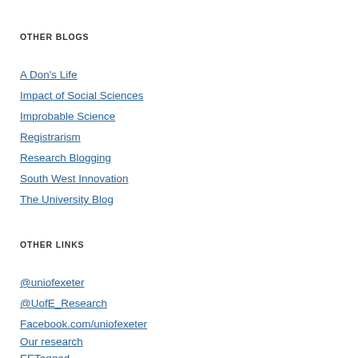OTHER BLOGS
A Don's Life
Impact of Social Sciences
Improbable Science
Registrarism
Research Blogging
South West Innovation
The University Blog
OTHER LINKS
@uniofexeter
@UofE_Research
Facebook.com/uniofexeter
Our research
EETagged